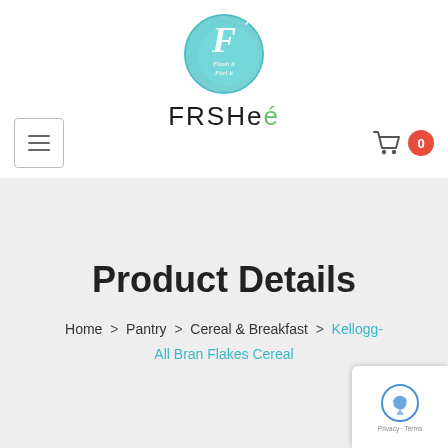[Figure (logo): FRSHee logo: teal watercolor circle with cursive 'Flash it Feel it' text and capital F, above brand name FRSHee in black and green]
FRSHee navigation header with hamburger menu and cart icon showing 0 items
Product Details
Home > Pantry > Cereal & Breakfast > Kellogg- All Bran Flakes Cereal